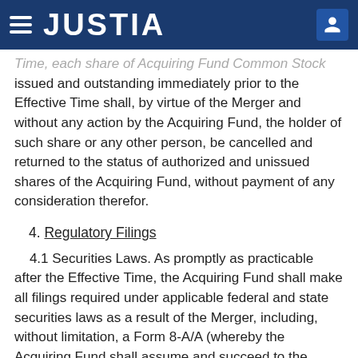JUSTIA
Time, each share of Acquiring Fund Common Stock issued and outstanding immediately prior to the Effective Time shall, by virtue of the Merger and without any action by the Acquiring Fund, the holder of such share or any other person, be cancelled and returned to the status of authorized and unissued shares of the Acquiring Fund, without payment of any consideration therefor.
4. Regulatory Filings
4.1 Securities Laws. As promptly as practicable after the Effective Time, the Acquiring Fund shall make all filings required under applicable federal and state securities laws as a result of the Merger, including, without limitation, a Form 8-A/A (whereby the Acquiring Fund shall assume and succeed to the registration of the Acquired Fund as a closed-end management